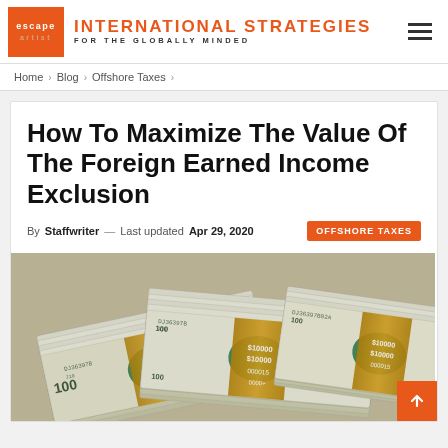INTERNATIONAL STRATEGIES FOR THE GLOBALLY MINDED — Escape Artist
Home > Blog > Offshore Taxes >
How To Maximize The Value Of The Foreign Earned Income Exclusion
By Staffwriter — Last updated Apr 29, 2020  OFFSHORE TAXES
[Figure (photo): Stacks of US $100 dollar bills bundled with yellow bands labeled $10000]